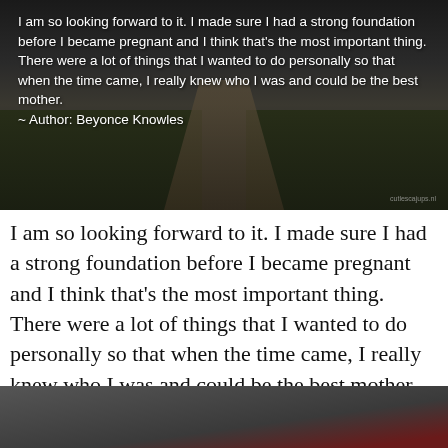[Figure (photo): Dark photograph of a wooden boardwalk path through grass/wetlands, with quote text overlaid in white]
I am so looking forward to it. I made sure I had a strong foundation before I became pregnant and I think that's the most important thing. There were a lot of things that I wanted to do personally so that when the time came, I really knew who I was and could be the best mother. — Beyonce Knowles
[Figure (photo): Partial dark image at bottom of page, appears to show a dark grey and red subject, partially cropped]